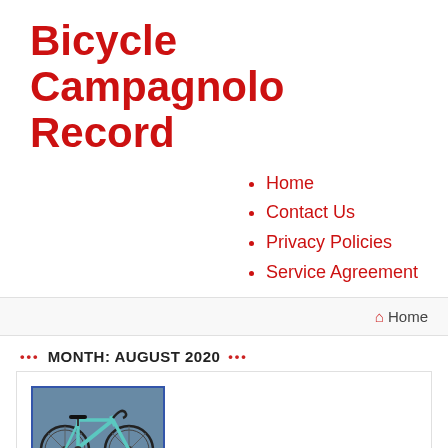Bicycle Campagnolo Record
Home
Contact Us
Privacy Policies
Service Agreement
🏠 Home
MONTH: AUGUST 2020
[Figure (photo): A road bicycle leaning against a wall, light blue/teal colored frame, photographed outdoors]
Bianchi specialissima x2